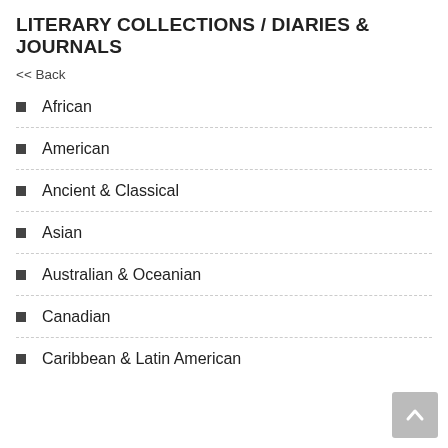LITERARY COLLECTIONS / DIARIES & JOURNALS
<< Back
African
American
Ancient & Classical
Asian
Australian & Oceanian
Canadian
Caribbean & Latin American